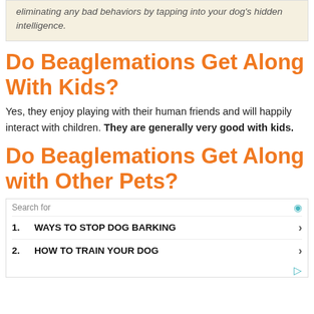eliminating any bad behaviors by tapping into your dog's hidden intelligence.
Do Beaglemations Get Along With Kids?
Yes, they enjoy playing with their human friends and will happily interact with children. They are generally very good with kids.
Do Beaglemations Get Along with Other Pets?
Search for
1. WAYS TO STOP DOG BARKING
2. HOW TO TRAIN YOUR DOG